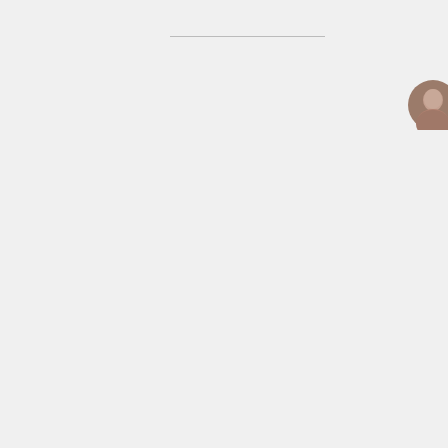[Figure (photo): Small circular avatar photo of a person, appears to be an older male]
Dave Astor on May 29, 2022 at 6:14 pm
The pathetic police response was